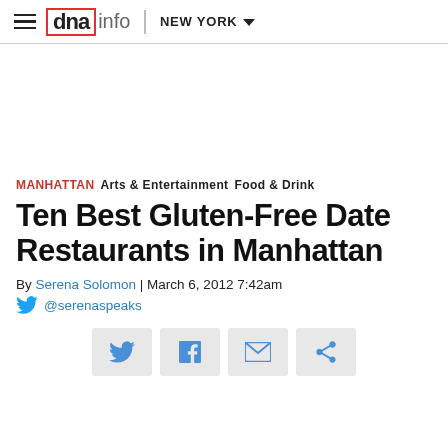dnainfo NEW YORK
MANHATTAN  Arts & Entertainment  Food & Drink
Ten Best Gluten-Free Date Restaurants in Manhattan
By Serena Solomon | March 6, 2012 7:42am
@serenaspeaks